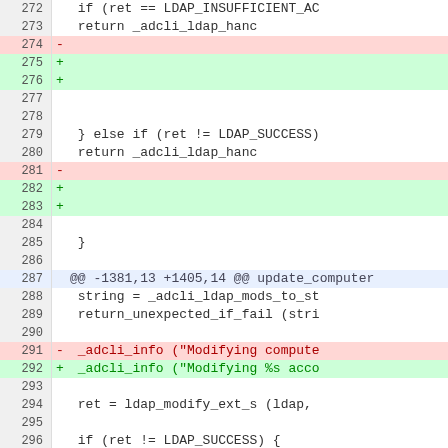[Figure (screenshot): A code diff view showing lines 272–296 of a C source file. Lines 274 and 281 are removed (red background), lines 275, 276, 282, and 283 are added (green background). Line 287 is a hunk header. Lines show LDAP-related C code including conditionals, return statements, and _adcli_info calls.]